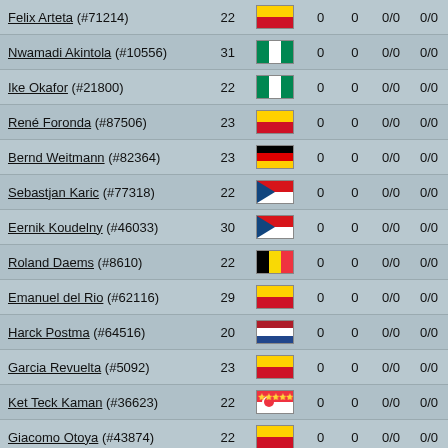| Name | Age | Flag | Stat1 | Stat2 | Stat3 | Stat4 |
| --- | --- | --- | --- | --- | --- | --- |
| Felix Arteta (#71214) | 22 | Colombia | 0 | 0 | 0/0 | 0/0 |
| Nwamadi Akintola (#10556) | 31 | Nigeria | 0 | 0 | 0/0 | 0/0 |
| Ike Okafor (#21800) | 22 | Nigeria | 0 | 0 | 0/0 | 0/0 |
| René Foronda (#87506) | 23 | Colombia | 0 | 0 | 0/0 | 0/0 |
| Bernd Weitmann (#82364) | 23 | Germany | 0 | 0 | 0/0 | 0/0 |
| Sebastjan Karic (#77318) | 22 | Czech Republic | 0 | 0 | 0/0 | 0/0 |
| Eernik Koudelny (#46033) | 30 | Czech Republic | 0 | 0 | 0/0 | 0/0 |
| Roland Daems (#8610) | 22 | Belgium | 0 | 0 | 0/0 | 0/0 |
| Emanuel del Rio (#62116) | 29 | Colombia | 0 | 0 | 0/0 | 0/0 |
| Harck Postma (#64516) | 20 | Netherlands | 0 | 0 | 0/0 | 0/0 |
| Garcia Revuelta (#5092) | 23 | Colombia | 0 | 0 | 0/0 | 0/0 |
| Ket Teck Kaman (#36623) | 22 | Singapore | 0 | 0 | 0/0 | 0/0 |
| Giacomo Otoya (#43874) | 22 | Colombia | 0 | 0 | 0/0 | 0/0 |
| José Silva (#55051) | 25 | Colombia | 0 | 0 | 0/0 | 0/0 |
| Michael Büss (#85099) | 23 | Switzerland | 0 | 0 | 0/0 | 0/0 |
| Frank Nehler (#7829) | 19 | Germany | 0 | 0 | 0/0 | 0/0 |
| Robert Perry (#89267) | 19 | Wales | 0 | 0 | 0/0 | 0/0 |
| Victor Torres (#11175) | 24 | Colombia | 0 | 0 | 0/0 | 0/0 |